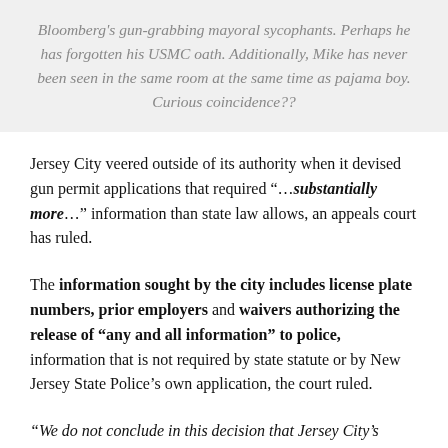Bloomberg's gun-grabbing mayoral sycophants. Perhaps he has forgotten his USMC oath. Additionally, Mike has never been seen in the same room at the same time as pajama boy. Curious coincidence??
Jersey City veered outside of its authority when it devised gun permit applications that required "…substantially more…" information than state law allows, an appeals court has ruled.
The information sought by the city includes license plate numbers, prior employers and waivers authorizing the release of "any and all information" to police, information that is not required by state statute or by New Jersey State Police's own application, the court ruled.
"We do not conclude in this decision that Jersey City's inquiries